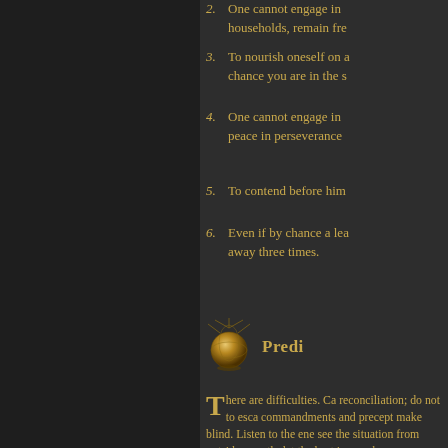2. One cannot engage in households, remain fre
3. To nourish oneself on a chance you are in the s
4. One cannot engage in peace in perseverance
5. To contend before him
6. Even if by chance a lea away three times.
[Figure (illustration): Decorative banner with golden globe/orb and rays, with partial text 'Predi']
There are difficulties. Ca reconciliation; do not to esca commandments and precept make blind. Listen to the ene see the situation from outside growth: let the best in you, be
[Figure (illustration): Decorative banner with golden orb and partial text 'Richa']